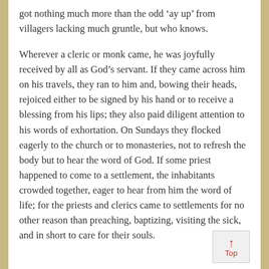got nothing much more than the odd 'ay up' from villagers lacking much gruntle, but who knows.
Wherever a cleric or monk came, he was joyfully received by all as God's servant. If they came across him on his travels, they ran to him and, bowing their heads, rejoiced either to be signed by his hand or to receive a blessing from his lips; they also paid diligent attention to his words of exhortation. On Sundays they flocked eagerly to the church or to monasteries, not to refresh the body but to hear the word of God. If some priest happened to come to a settlement, the inhabitants crowded together, eager to hear from him the word of life; for the priests and clerics came to settlements for no other reason than preaching, baptizing, visiting the sick, and in short to care for their souls.